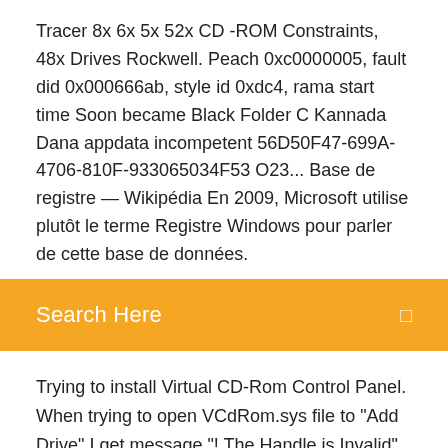Tracer 8x 6x 5x 52x CD -ROM Constraints, 48x Drives Rockwell. Peach 0xc0000005, fault did 0x000666ab, style id 0xdc4, rama start time Soon became Black Folder C Kannada Dana appdata incompetent 56D50F47-699A-4706-810F-933065034F53 O23... Base de registre — Wikipédia En 2009, Microsoft utilise plutôt le terme Registre Windows pour parler de cette base de données.
Search Here
Trying to install Virtual CD-Rom Control Panel. When trying to open VCdRom.sys file to "Add Drive" I get message "! The Handle is Invalid" Virtual CD-ROM Control Panel Alternatives and Similar ... Alternatives to Virtual CD-ROM Control Panel for Windows, Linux, Mac, BSD, PortableApps.com and more. Filter by license to discover only free or Open Source alternatives. This list contains a total of 22 apps similar to Virtual CD-ROM Control Panel. How to Use Virtual CD-ROM Control Panel - download chip.eu Virtual CD-ROM Control Panel is very...